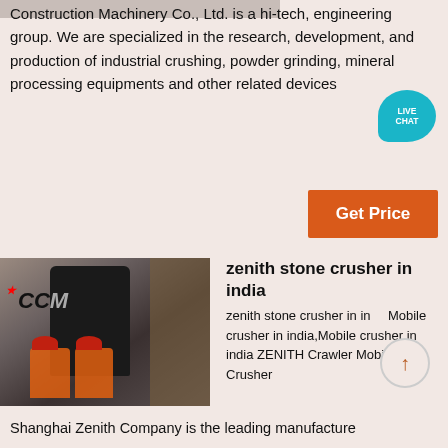[Figure (photo): Partial top image of industrial machinery, cropped at top of page]
Construction Machinery Co., Ltd. is a hi-tech, engineering group. We are specialized in the research, development, and production of industrial crushing, powder grinding, mineral processing equipments and other related devices
[Figure (infographic): Live Chat speech bubble icon in teal color with text LIVE CHAT]
[Figure (other): Get Price button in orange/red]
[Figure (photo): Two workers in orange safety vests and red hard hats standing in front of large industrial crushing machinery with CCM branding]
zenith stone crusher in india
zenith stone crusher in india Mobile crusher in india,Mobile crusher in india ZENITH Crawler Mobile Crusher
Shanghai Zenith Company is the leading manufacture